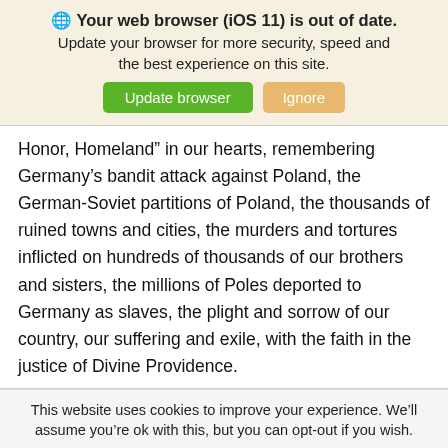🌐 Your web browser (iOS 11) is out of date. Update your browser for more security, speed and the best experience on this site. [Update browser] [Ignore]
Honor, Homeland” in our hearts, remembering Germany’s bandit attack against Poland, the German-Soviet partitions of Poland, the thousands of ruined towns and cities, the murders and tortures inflicted on hundreds of thousands of our brothers and sisters, the millions of Poles deported to Germany as slaves, the plight and sorrow of our country, our suffering and exile, with the faith in the justice of Divine Providence.
This website uses cookies to improve your experience. We’ll assume you’re ok with this, but you can opt-out if you wish. [Cookie settings] [ACCEPT]